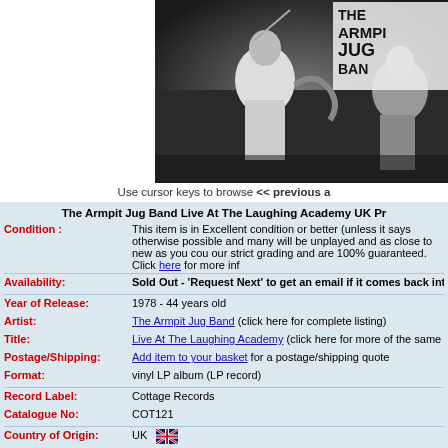[Figure (photo): Black and white concert photo of a musician performing, with a sign reading 'The Armpit Jug Band' visible in the background]
Use cursor keys to browse << previous a
The Armpit Jug Band Live At The Laughing Academy UK Pr
| Condition : | This item is in Excellent condition or better (unless it says otherwise possible and many will be unplayed and as close to new as you cou our strict grading and are 100% guaranteed. Click here for more inf |
| Availability: | Sold Out - 'Request Next' to get an email if it comes back into s |
| Year of Release: | 1978 - 44 years old |
| Artist: | The Armpit Jug Band (click here for complete listing) |
| Title: | Live At The Laughing Academy (click here for more of the same title |
| Postage/Shipping: | Add item to your basket for a postage/shipping quote |
| Format: | vinyl LP album (LP record) |
| Record Label: | Cottage Records |
| Catalogue No: | COT121 |
| Country of Origin: | UK 🇬🇧 |
| Language: | Regardless of country of origin all tracks are sung in English, unless |
| Additional info: | Promo
Deleted |
| EIL.COM Ref No | V5VLPLI590567 (quote this reference in any e-mails, letters, faxes |